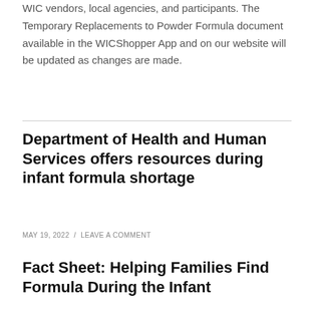WIC vendors, local agencies, and participants. The Temporary Replacements to Powder Formula document available in the WICShopper App and on our website will be updated as changes are made.
Department of Health and Human Services offers resources during infant formula shortage
MAY 19, 2022  /  LEAVE A COMMENT
Fact Sheet: Helping Families Find Formula During the Infant